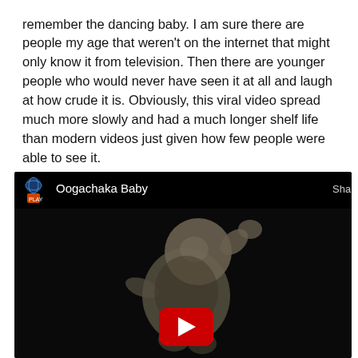remember the dancing baby. I am sure there are people my age that weren't on the internet that might only know it from television. Then there are younger people who would never have seen it at all and laugh at how crude it is. Obviously, this viral video spread much more slowly and had a much longer shelf life than modern videos just given how few people were able to see it.

Just in case you have no idea what I am talking about, here is the original Dancing Baby (now on youtube).
[Figure (screenshot): Embedded YouTube video player showing 'Oogachaka Baby' - a dark video thumbnail of a 3D rendered dancing baby against a black background, with a red YouTube play button in the center. The video top bar shows a globe/channel icon, the title 'Oogachaka Baby', and a partially visible 'Sha' (Share) label on the right.]